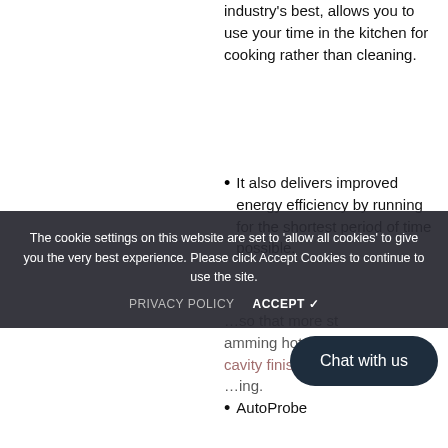industry's best, allows you to use your time in the kitchen for cooking rather than cleaning.
It also delivers improved energy efficiency by running for the shortest period of time possible.
...so that more steamming hot cavity finishes...
The cookie settings on this website are set to 'allow all cookies' to give you the very best experience. Please click Accept Cookies to continue to use the site.
PRIVACY POLICY   ACCEPT ✓
[Figure (other): Chat with us button (dark navy rounded rectangle)]
AutoProbe